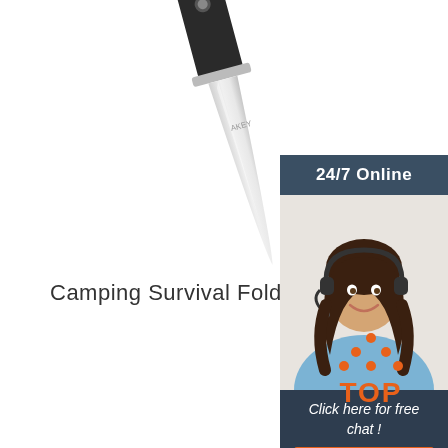[Figure (photo): A folding pocket knife with black handle and silver blade on white background]
Camping Survival Folding Knife
[Figure (infographic): 24/7 online customer service sidebar with a woman wearing a headset, 'Click here for free chat!' text, and an orange QUOTATION button]
[Figure (logo): TOP logo with orange dots forming a triangle above the orange text TOP]